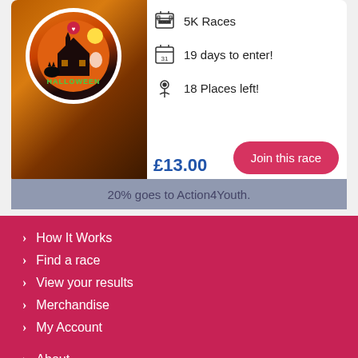[Figure (photo): Halloween themed race medal/badge shown in a white circular frame over a dark orange background image]
5K Races
19 days to enter!
18 Places left!
£13.00
Join this race
20% goes to Action4Youth.
How It Works
Find a race
View your results
Merchandise
My Account
About
Blog